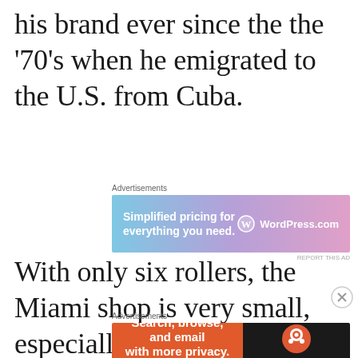his brand ever since the the '70's when he emigrated to the U.S. from Cuba.
[Figure (other): WordPress.com advertisement: 'Simplified pricing for everything you need.' with gradient blue-pink background]
With only six rollers, the Miami shop is very small, especially by comparison with
[Figure (other): DuckDuckGo advertisement: 'Search, browse, and email with more privacy. All in One Free App']